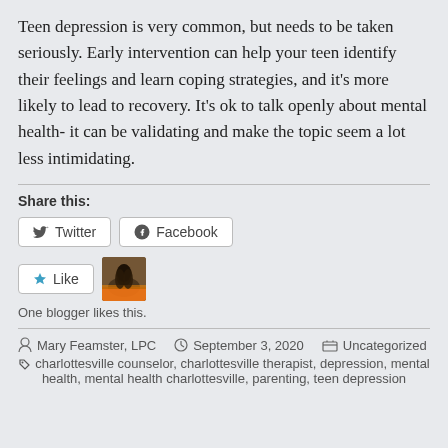Teen depression is very common, but needs to be taken seriously. Early intervention can help your teen identify their feelings and learn coping strategies, and it's more likely to lead to recovery. It's ok to talk openly about mental health- it can be validating and make the topic seem a lot less intimidating.
Share this:
[Figure (other): Twitter and Facebook share buttons]
[Figure (other): Like button with blogger avatar thumbnail and text 'One blogger likes this.']
Mary Feamster, LPC  September 3, 2020  Uncategorized  charlottesville counselor, charlottesville therapist, depression, mental health, mental health charlottesville, parenting, teen depression